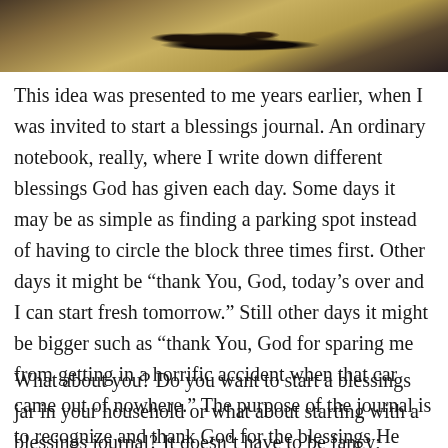[Figure (photo): Close-up photograph of dark braided or curled hair/rope-like object against a warm golden-brown blurred background]
This idea was presented to me years earlier, when I was invited to start a blessings journal. An ordinary notebook, really, where I write down different blessings God has given each day. Some days it may be as simple as finding a parking spot instead of having to circle the block three times first. Other days it might be “thank You, God, today’s over and I can start fresh tomorrow.” Still other days it might be bigger such as “thank You, God for sparing me from getting in a horrific accident when that car came out of nowhere.” The purpose of the journal is to recognize and thank God for the blessings He gives, each and every day.
What about you? Do you want to start a blessings jar in your household or what about starting with a blessings journal? It doesn’t have to be fancy; simple will do.